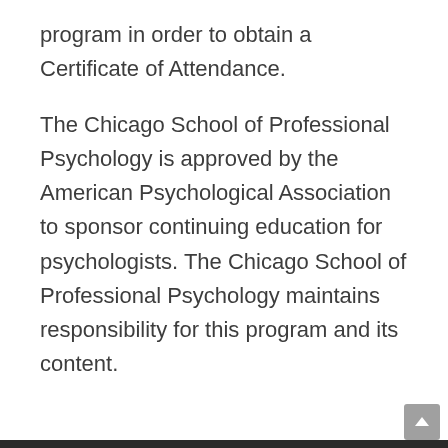program in order to obtain a Certificate of Attendance.
The Chicago School of Professional Psychology is approved by the American Psychological Association to sponsor continuing education for psychologists. The Chicago School of Professional Psychology maintains responsibility for this program and its content.